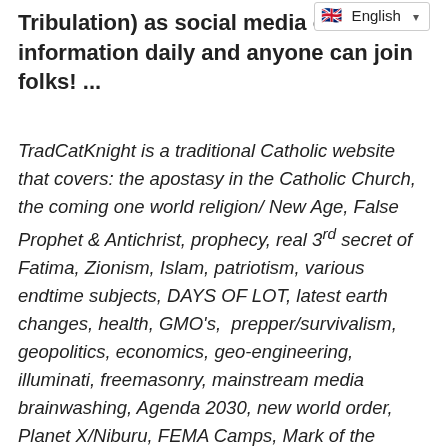Tribulation) as social media cen information daily and anyone can join folks! ...
TradCatKnight is a traditional Catholic website that covers: the apostasy in the Catholic Church, the coming one world religion/ New Age, False Prophet & Antichrist, prophecy, real 3rd secret of Fatima, Zionism, Islam, patriotism, various endtime subjects, DAYS OF LOT, latest earth changes, health, GMO's, prepper/survivalism, geopolitics, economics, geo-engineering, illuminati, freemasonry, mainstream media brainwashing, Agenda 2030, new world order, Planet X/Niburu, FEMA Camps, Mark of the Beast, phony alien disclosure forthcoming, project bluebeam, HAARP/SCALAR weaponry, weather wars, chemtrails, Vaccines, global depopulation and MORE!